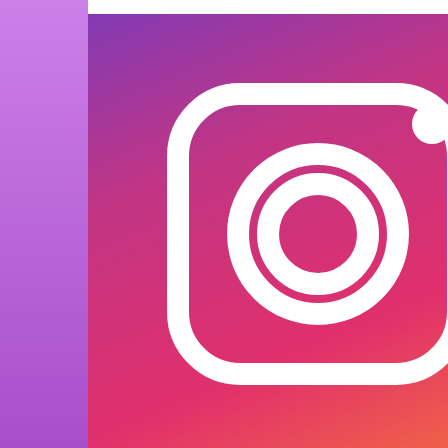[Figure (illustration): Instagram follow banner with gradient background (purple to pink to orange) showing Instagram camera icon on the left and text 'FOLLO... Insta...' on the right, partially cropped]
https://www.instagram.com/the_riley_
Posted by The Riley and Kimmy Show
[Figure (illustration): Social share icons: Email, Blogger, Twitter, Facebook, Pinterest]
Video Invite To Our Daily Podcast
[Figure (photo): Black video thumbnail with partial cartoon/illustrated character visible on right side]